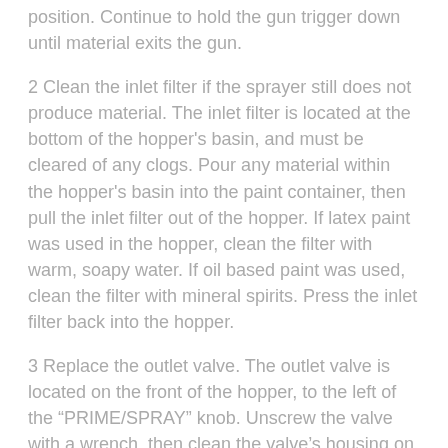position. Continue to hold the gun trigger down until material exits the gun.
2 Clean the inlet filter if the sprayer still does not produce material. The inlet filter is located at the bottom of the hopper's basin, and must be cleared of any clogs. Pour any material within the hopper's basin into the paint container, then pull the inlet filter out of the hopper. If latex paint was used in the hopper, clean the filter with warm, soapy water. If oil based paint was used, clean the filter with mineral spirits. Press the inlet filter back into the hopper.
3 Replace the outlet valve. The outlet valve is located on the front of the hopper, to the left of the “PRIME/SPRAY” knob. Unscrew the valve with a wrench, then clean the valve’s housing on the hopper with warm, soapy water if latex paint was used, or with mineral spirits if oil based paint was used. Tighten the replacement outlet valve into the hopper with a wrench.